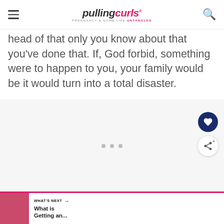Pulling Curls — Pregnancy & Home Life Untangled
head of that only you know about that you've done that. If, God forbid, something were to happen to you, your family would be it would turn into a total disaster.
[Figure (other): Advertisement placeholder area with three dots]
[Figure (other): What's Next bar with thumbnail and text: What is Getting an...]